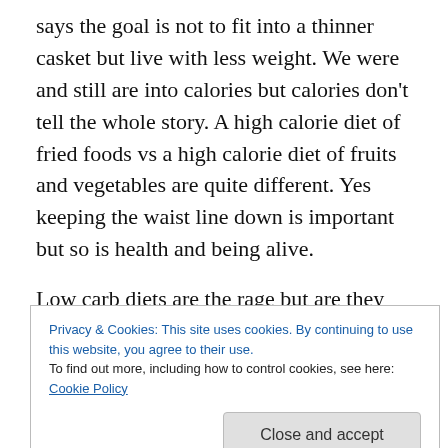says the goal is not to fit into a thinner casket but live with less weight. We were and still are into calories but calories don't tell the whole story. A high calorie diet of fried foods vs a high calorie diet of fruits and vegetables are quite different. Yes keeping the waist line down is important but so is health and being alive.
Low carb diets are the rage but are they good for you? The answer seems to be NO! Low carb diets destroy our arteries allowing heart diseases to prevail. Don't be taken in by the latest fad. Don't look for quick fixes, they don't
Privacy & Cookies: This site uses cookies. By continuing to use this website, you agree to their use.
To find out more, including how to control cookies, see here: Cookie Policy
Close and accept
to cancer and heart disease. – The China Study